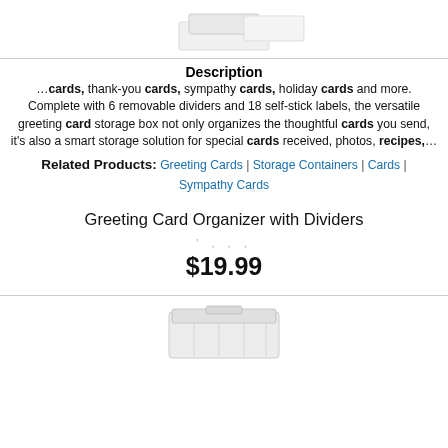[Figure (photo): White greeting card storage box product image (top portion, cropped)]
Description
…cards, thank-you cards, sympathy cards, holiday cards and more. Complete with 6 removable dividers and 18 self-stick labels, the versatile greeting card storage box not only organizes the thoughtful cards you send, it's also a smart storage solution for special cards received, photos, recipes,…
Related Products: Greeting Cards | Storage Containers | Cards | Sympathy Cards
Greeting Card Organizer with Dividers
' ' ' '
$19.99
[Figure (photo): White greeting card organizer box product image (bottom, partially cropped)]